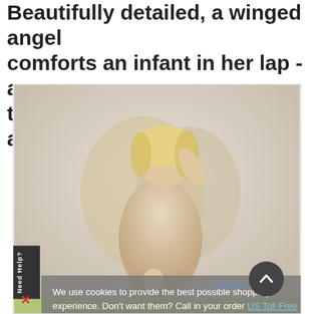Beautifully detailed, a winged angel comforts an infant in her lap - a touching image of a guardian angel.
[Figure (photo): Product photo of a figurine depicting a winged angel with blonde hair comforting an infant in her lap, shown against a light background. The image is partially obscured by a cookie consent overlay.]
We use cookies to provide the best possible shopping experience. Don't want them? Call in your order US Toll Free 877-822-3318. Learn more
Got it!